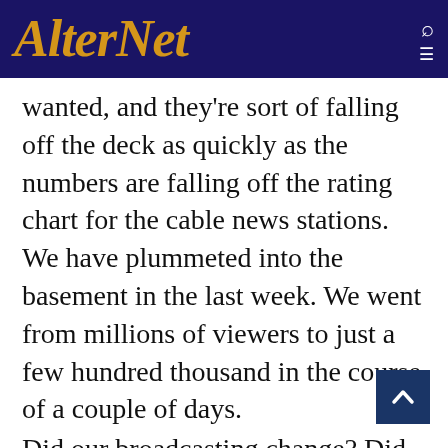AlterNet
wanted, and they're sort of falling off the deck as quickly as the numbers are falling off the rating chart for the cable news stations. We have plummeted into the basement in the last week. We went from millions of viewers to just a few hundred thousand in the course of a couple of days.
Did our broadcasting change? Did we get boring? Did we all a sudden lose our flair? Did we start using language that people didn't want to hear? No, I think you've just had enough. I